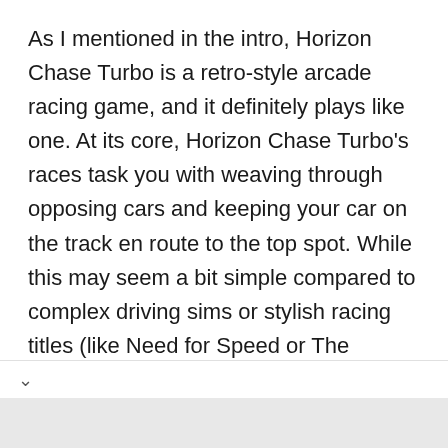As I mentioned in the intro, Horizon Chase Turbo is a retro-style arcade racing game, and it definitely plays like one. At its core, Horizon Chase Turbo's races task you with weaving through opposing cars and keeping your car on the track en route to the top spot. While this may seem a bit simple compared to complex driving sims or stylish racing titles (like Need for Speed or The Crew), make no mistake, Horizon Chase Turbo is a challenging game.